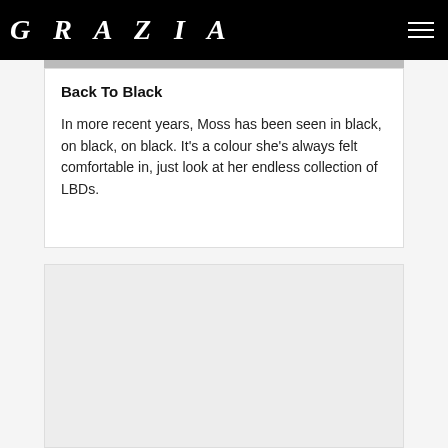GRAZIA
Back To Black
In more recent years, Moss has been seen in black, on black, on black. It's a colour she's always felt comfortable in, just look at her endless collection of LBDs.
[Figure (photo): Empty grey card placeholder at bottom of page]